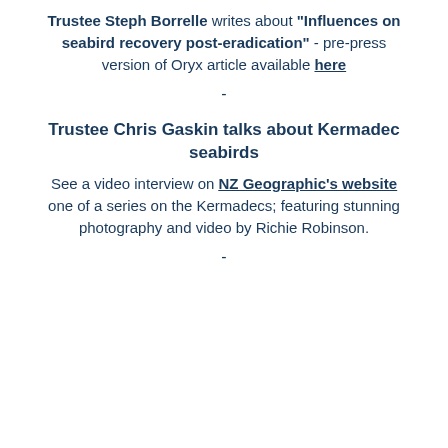Trustee Steph Borrelle writes about "Influences on seabird recovery post-eradication" - pre-press version of Oryx article available here
-
Trustee Chris Gaskin talks about Kermadec seabirds
See a video interview on NZ Geographic's website one of a series on the Kermadecs; featuring stunning photography and video by Richie Robinson.
-